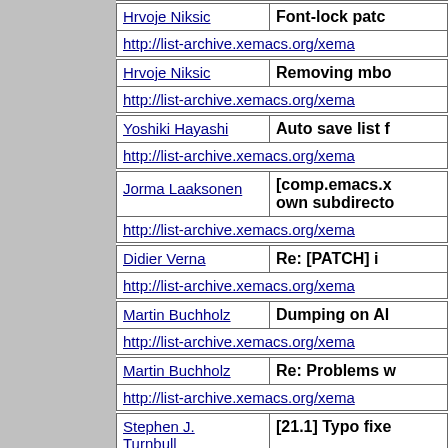| Author | Subject/URL |
| --- | --- |
| Hrvoje Niksic | Font-lock patc... | http://list-archive.xemacs.org/xema... |
| Hrvoje Niksic | Removing mbo... | http://list-archive.xemacs.org/xema... |
| Yoshiki Hayashi | Auto save list f... | http://list-archive.xemacs.org/xema... |
| Jorma Laaksonen | [comp.emacs.x... own subdirecto... | http://list-archive.xemacs.org/xema... |
| Didier Verna | Re: [PATCH] i... | http://list-archive.xemacs.org/xema... |
| Martin Buchholz | Dumping on Al... | http://list-archive.xemacs.org/xema... |
| Martin Buchholz | Re: Problems w... | http://list-archive.xemacs.org/xema... |
| Stephen J. Turnbull | [21.1] Typo fixe... | http://list-archive.xemacs.org/xema... |